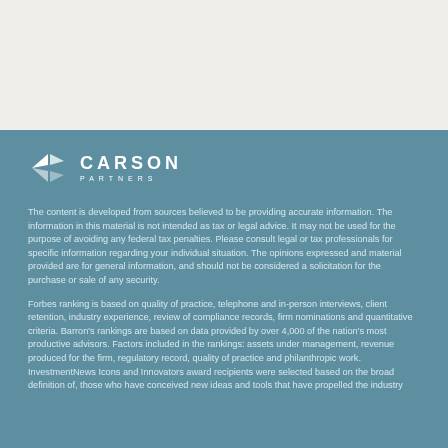[Figure (logo): Carson Partners logo — angular arrow/bowtie icon in white, with 'CARSON' in bold spaced caps and 'PARTNERS' in small spaced caps below]
The content is developed from sources believed to be providing accurate information. The information in this material is not intended as tax or legal advice. It may not be used for the purpose of avoiding any federal tax penalties. Please consult legal or tax professionals for specific information regarding your individual situation. The opinions expressed and material provided are for general information, and should not be considered a solicitation for the purchase or sale of any security.
Forbes ranking is based on quality of practice, telephone and in-person interviews, client retention, industry experience, review of compliance records, firm nominations and quantitative criteria. Barron's rankings are based on data provided by over 4,000 of the nation's most productive advisors. Factors included in the rankings: assets under management, revenue produced for the firm, regulatory record, quality of practice and philanthropic work. InvestmentNews Icons and Innovators award recipients were selected based on the broad definition of, those who have conceived new ideas and tools that have propelled the industry